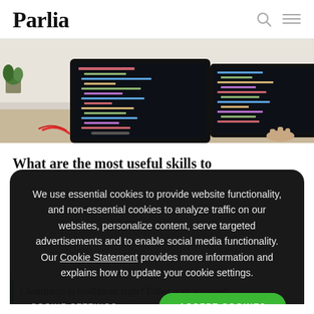Parlia
[Figure (screenshot): Hero image showing a computer monitor with code editor open displaying colorful syntax-highlighted code, on a desk with a plant in the background.]
What are the most useful skills to
We use essential cookies to provide website functionality, and non-essential cookies to analyze traffic on our websites, personalize content, serve targeted advertisements and to enable social media functionality. Our Cookie Statement provides more information and explains how to update your cookie settings.
COOKIE SETTINGS   ACCEPT COOKIES
Cleanliness is Godliness, right? Either way, it's good